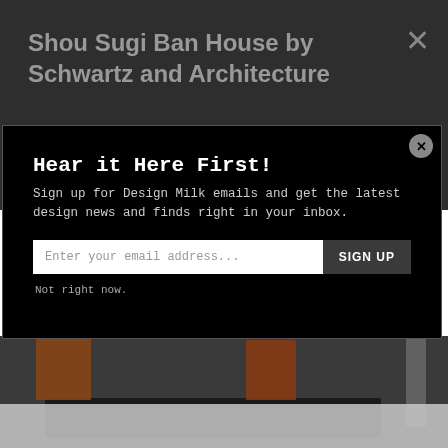Shou Sugi Ban House by Schwartz and Architecture
Hear it Here First!
Sign up for Design Milk emails and get the latest design news and finds right in your inbox.
Enter your email address...
SIGN UP
Not right now.
[Figure (photo): Interior room with dark dining table and red-orange chairs, partially visible through dimmed overlay]